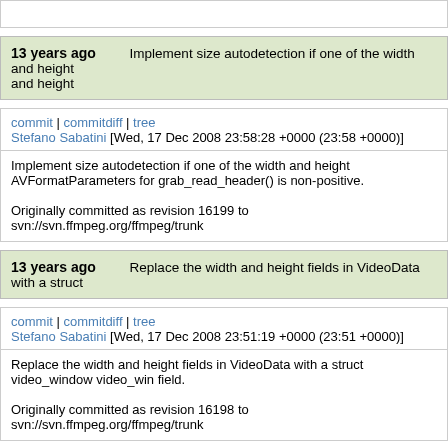(top bar placeholder)
13 years ago   Implement size autodetection if one of the width and height
commit | commitdiff | tree
Stefano Sabatini [Wed, 17 Dec 2008 23:58:28 +0000 (23:58 +0000)]
Implement size autodetection if one of the width and height AVFormatParameters for grab_read_header() is non-positive.

Originally committed as revision 16199 to svn://svn.ffmpeg.org/ffmpeg/trunk
13 years ago   Replace the width and height fields in VideoData with a struct
commit | commitdiff | tree
Stefano Sabatini [Wed, 17 Dec 2008 23:51:19 +0000 (23:51 +0000)]
Replace the width and height fields in VideoData with a struct video_window video_win field.

Originally committed as revision 16198 to svn://svn.ffmpeg.org/ffmpeg/trunk